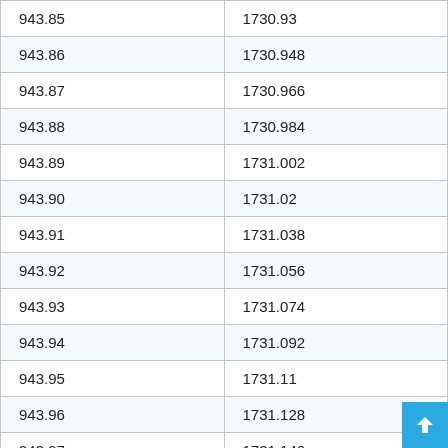| 943.85 | 1730.93 |
| 943.86 | 1730.948 |
| 943.87 | 1730.966 |
| 943.88 | 1730.984 |
| 943.89 | 1731.002 |
| 943.90 | 1731.02 |
| 943.91 | 1731.038 |
| 943.92 | 1731.056 |
| 943.93 | 1731.074 |
| 943.94 | 1731.092 |
| 943.95 | 1731.11 |
| 943.96 | 1731.128 |
| 943.97 | 1731.146 |
| 943.98 | 1731.164 |
| 943.99 | 1731.182 |